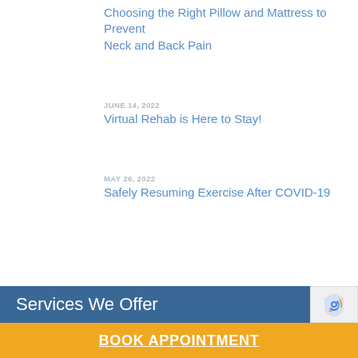Choosing the Right Pillow and Mattress to Prevent Neck and Back Pain
JUNE 14, 2022
Virtual Rehab is Here to Stay!
MAY 26, 2022
Safely Resuming Exercise After COVID-19
Services We Offer
BOOK APPOINTMENT